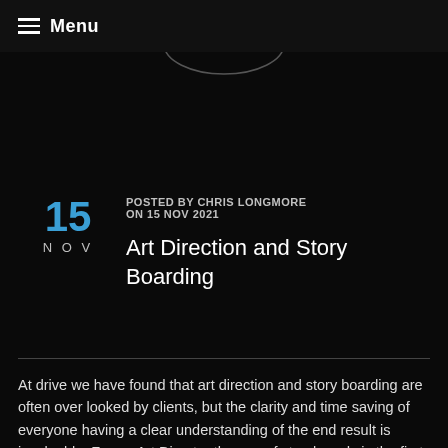Menu
[Figure (logo): Drive logo — circular emblem with 'drive' text in white on dark background]
15 NOV — POSTED BY CHRIS LONGMORE ON 15 NOV 2021
Art Direction and Story Boarding
At drive we have found that art direction and story boarding are often over looked by clients, but the clarity and time saving of everyone having a clear understanding of the end result is invaluable. For an Art Director the use of storyboards is the first